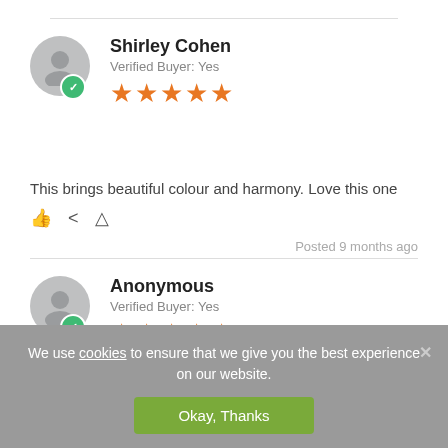Shirley Cohen — Verified Buyer: Yes — 5 stars
This brings beautiful colour and harmony. Love this one
Posted 9 months ago
Anonymous — Verified Buyer: Yes — 5 stars
Posted 1 year ago
We use cookies to ensure that we give you the best experience on our website.
Okay, Thanks